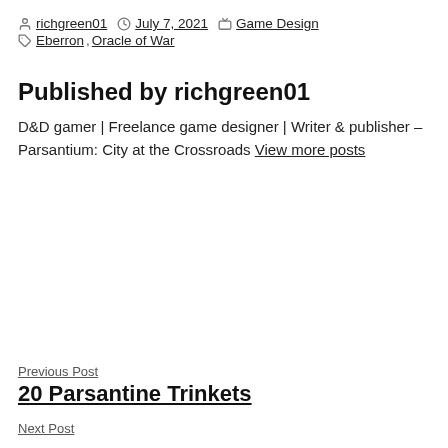By richgreen01 | July 7, 2021 | Game Design | Tags: Eberron, Oracle of War
Published by richgreen01
D&D gamer | Freelance game designer | Writer & publisher – Parsantium: City at the Crossroads View more posts
Previous Post
20 Parsantine Trinkets
Next Post